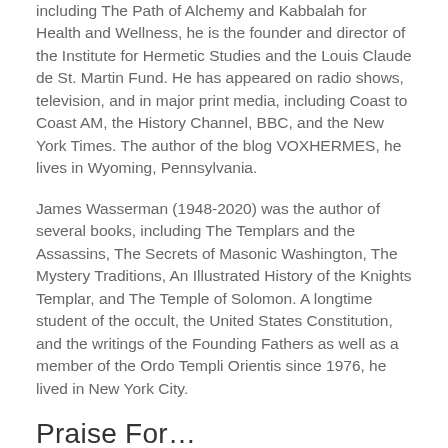including The Path of Alchemy and Kabbalah for Health and Wellness, he is the founder and director of the Institute for Hermetic Studies and the Louis Claude de St. Martin Fund. He has appeared on radio shows, television, and in major print media, including Coast to Coast AM, the History Channel, BBC, and the New York Times. The author of the blog VOXHERMES, he lives in Wyoming, Pennsylvania.
James Wasserman (1948-2020) was the author of several books, including The Templars and the Assassins, The Secrets of Masonic Washington, The Mystery Traditions, An Illustrated History of the Knights Templar, and The Temple of Solomon. A longtime student of the occult, the United States Constitution, and the writings of the Founding Fathers as well as a member of the Ordo Templi Orientis since 1976, he lived in New York City.
Praise For...
“Stavish gives not only theories but also facts and examples of these forces in spirituality, politics, news, and entertainment.